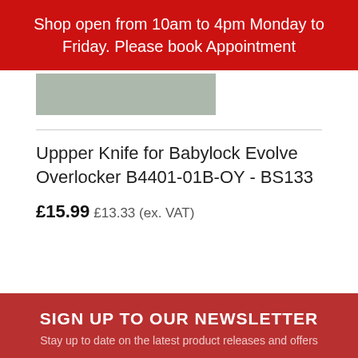Shop open from 10am to 4pm Monday to Friday. Please book Appointment
[Figure (photo): Grey placeholder rectangle representing a product image for an upper knife for Babylock Evolve Overlocker]
Uppper Knife for Babylock Evolve Overlocker B4401-01B-OY - BS133
£15.99  £13.33 (ex. VAT)
SIGN UP TO OUR NEWSLETTER
Stay up to date on the latest product releases and offers